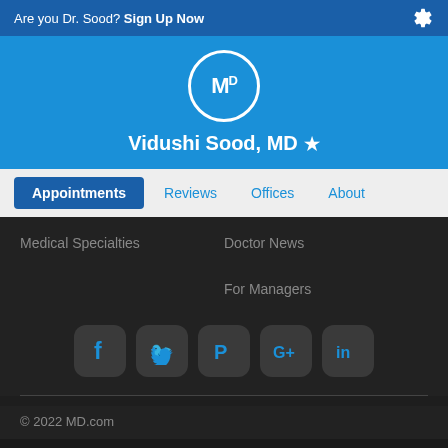Are you Dr. Sood? Sign Up Now
[Figure (logo): MD.com circular logo with white border on blue background]
Vidushi Sood, MD ★
Appointments | Reviews | Offices | About
Medical Specialties
Doctor News
For Managers
[Figure (infographic): Social media icons: Facebook, Twitter, Pinterest, Google+, LinkedIn]
© 2022 MD.com